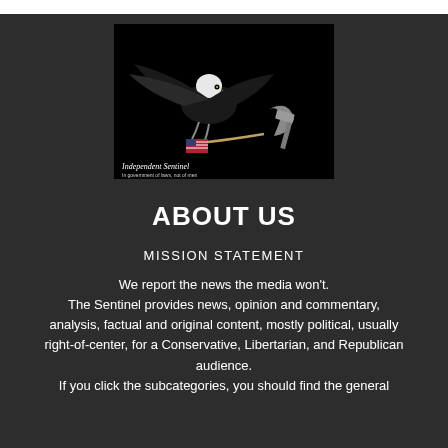[Figure (illustration): Illustration of a bald eagle fighting a communist hammer and sickle symbol, with American flag imagery. Text reads 'Independent Sentinel' with a tagline below.]
ABOUT US
MISSION STATEMENT
We report the news the media won't. The Sentinel provides news, opinion and commentary, analysis, factual and original content, mostly political, usually right-of-center, for a Conservative, Libertarian, and Republican audience. If you click the subcategories, you should find the general